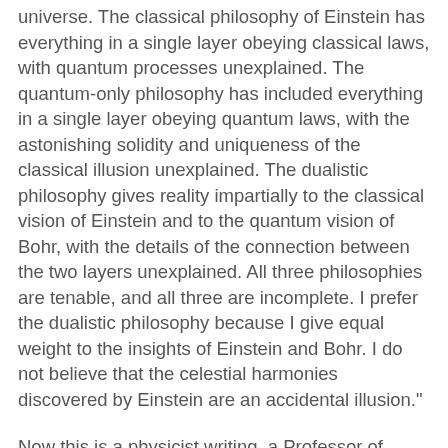universe. The classical philosophy of Einstein has everything in a single layer obeying classical laws, with quantum processes unexplained. The quantum-only philosophy has included everything in a single layer obeying quantum laws, with the astonishing solidity and uniqueness of the classical illusion unexplained. The dualistic philosophy gives reality impartially to the classical vision of Einstein and to the quantum vision of Bohr, with the details of the connection between the two layers unexplained. All three philosophies are tenable, and all three are incomplete. I prefer the dualistic philosophy because I give equal weight to the insights of Einstein and Bohr. I do not believe that the celestial harmonies discovered by Einstein are an accidental illusion."
Now this is a physicist writing, a Professor of Physics Emeritus at the Institute for Advanced Study in Princeton. So, I'm sure this account of our situation is accurate.
Most atheists know nothing of quantum theory. In a vague way, they assume Einstein's view. They can't be dualists because that would allow both this world and another world